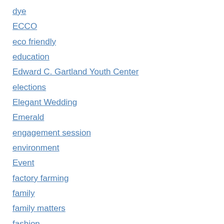dye
ECCO
eco friendly
education
Edward C. Gartland Youth Center
elections
Elegant Wedding
Emerald
engagement session
environment
Event
factory farming
family
family matters
fashion
Father's Day
Field Guide Friday
fine art
fishfry